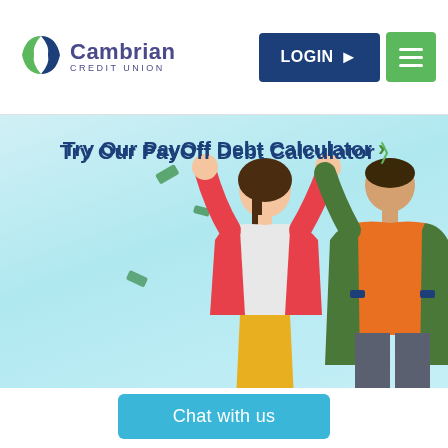[Figure (logo): Cambrian Credit Union logo with stylized X/swoosh icon in green and blue, company name in dark blue, 'CREDIT UNION' subtitle in spaced letters]
[Figure (illustration): Two illustrated figures celebrating with arms raised: a woman in red jacket and yellow pants, a man in green jacket and orange shirt with grey pants. Green confetti/money floating around them on a light blue/mint background. Text overlay reads 'Try Our PayOff Debt Calculator >']
Try Our PayOff Debt Calculator >
[Figure (screenshot): Blue 'Chat with us' button at bottom of page]